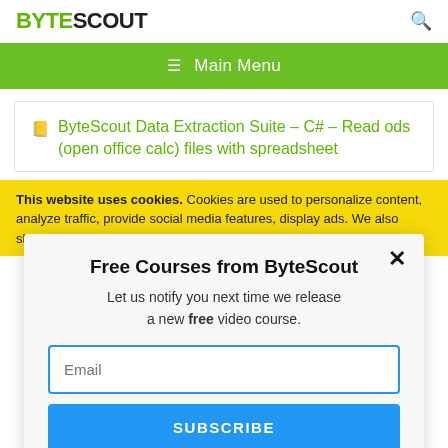BYTESCOUT
≡  Main Menu
ByteScout Data Extraction Suite – C# – Read ods (open office calc) files with spreadsheet
This website uses cookies. Cookies are used to personalize content, analyze traffic, provide social media features, display ads. We also share
Free Courses from ByteScout
Let us notify you next time we release a new free video course.
Email
SUBSCRIBE